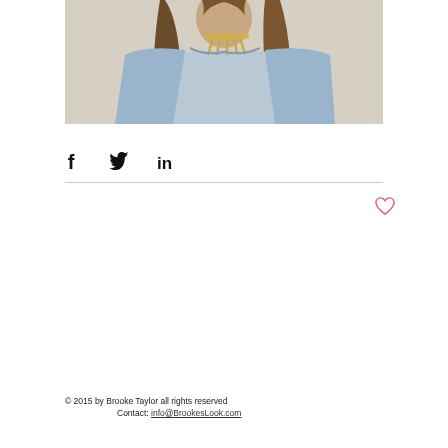[Figure (photo): Partial photo of a woman with long brown hair, wearing a light denim jacket and a gold spike/bar necklace. Only the lower face, neck, and upper torso are visible. The background is neutral/warm.]
[Figure (infographic): Social media share icons: Facebook (f), Twitter (bird), LinkedIn (in)]
[Figure (infographic): Heart/like button icon in outline style, red/pink color]
© 2015 by Brooke Taylor all rights reserved
Contact: info@BrookesLook.com